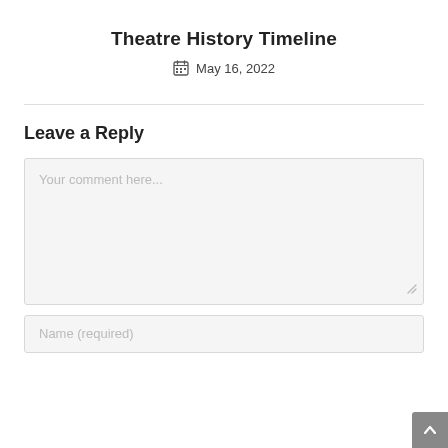Theatre History Timeline
May 16, 2022
Leave a Reply
Your comment here...
Name (required)